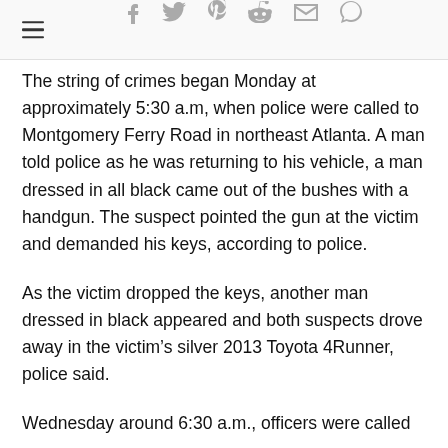Navigation and social sharing icons
The string of crimes began Monday at approximately 5:30 a.m, when police were called to Montgomery Ferry Road in northeast Atlanta. A man told police as he was returning to his vehicle, a man dressed in all black came out of the bushes with a handgun. The suspect pointed the gun at the victim and demanded his keys, according to police.
As the victim dropped the keys, another man dressed in black appeared and both suspects drove away in the victim’s silver 2013 Toyota 4Runner, police said.
Wednesday around 6:30 a.m., officers were called